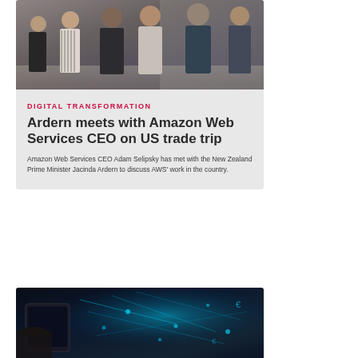[Figure (photo): Group of business professionals walking together in a corridor, wearing formal attire]
DIGITAL TRANSFORMATION
Ardern meets with Amazon Web Services CEO on US trade trip
Amazon Web Services CEO Adam Selipsky has met with the New Zealand Prime Minister Jacinda Ardern to discuss AWS' work in the country.
[Figure (photo): Person using a tablet with digital network and technology overlay graphics]